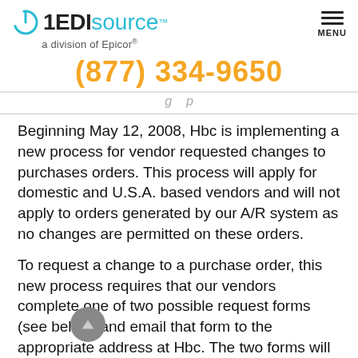[Figure (logo): 1EDIsource logo - a division of Epicor, with blue power icon and teal 'source' text]
(877) 334-9650
Beginning May 12, 2008, Hbc is implementing a new process for vendor requested changes to purchases orders. This process will apply for domestic and U.S.A. based vendors and will not apply to orders generated by our A/R system as no changes are permitted on these orders.
To request a change to a purchase order, this new process requires that our vendors complete one of two possible request forms (see below) and email that form to the appropriate address at Hbc. The two forms will be available on the